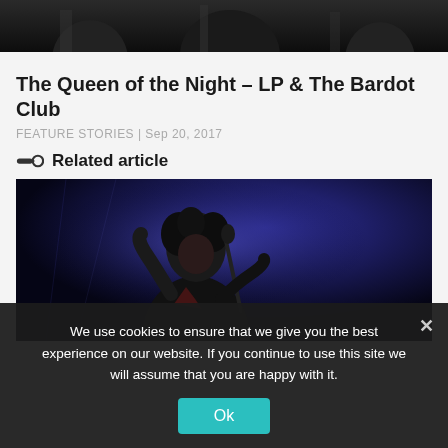[Figure (photo): Top portion of a black and white concert/band photo, partially cut off at the top of the page]
The Queen of the Night – LP & The Bardot Club
FEATURE STORIES | Sep 20, 2017
Related article
[Figure (photo): A performer with curly dark hair singing into a microphone on a stage lit with blue lighting, holding a microphone, wearing a dark jacket]
We use cookies to ensure that we give you the best experience on our website. If you continue to use this site we will assume that you are happy with it.